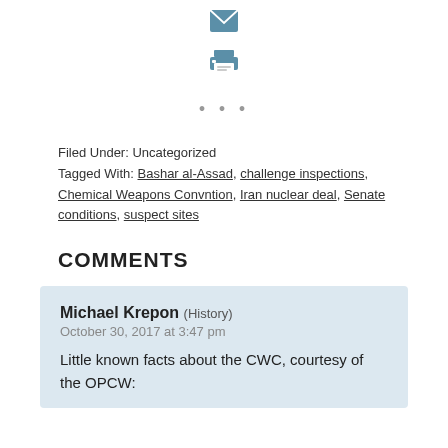[Figure (other): Email icon (envelope) and print icon, plus ellipsis dots for share options]
Filed Under: Uncategorized
Tagged With: Bashar al-Assad, challenge inspections, Chemical Weapons Convntion, Iran nuclear deal, Senate conditions, suspect sites
COMMENTS
Michael Krepon (History)
October 30, 2017 at 3:47 pm
Little known facts about the CWC, courtesy of the OPCW: